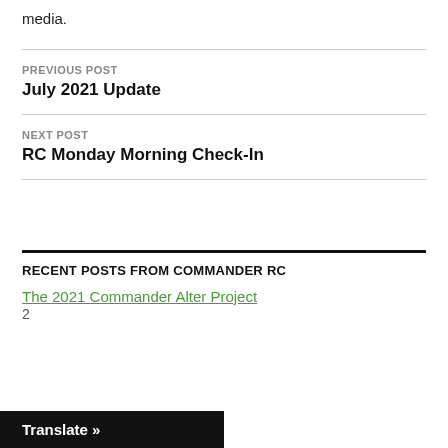media.
PREVIOUS POST
July 2021 Update
NEXT POST
RC Monday Morning Check-In
RECENT POSTS FROM COMMANDER RC
The 2021 Commander Alter Project
2
Translate »